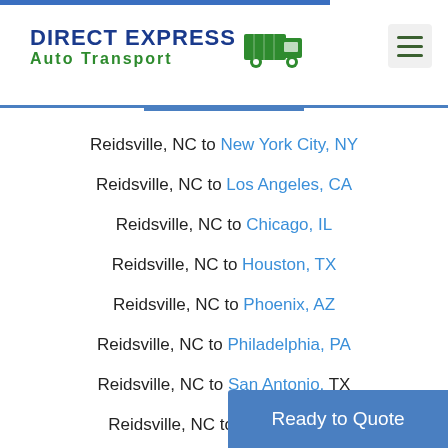DIRECT EXPRESS Auto Transport
Reidsville, NC to New York City, NY
Reidsville, NC to Los Angeles, CA
Reidsville, NC to Chicago, IL
Reidsville, NC to Houston, TX
Reidsville, NC to Phoenix, AZ
Reidsville, NC to Philadelphia, PA
Reidsville, NC to San Antonio, TX
Reidsville, NC to San Diego, CA
Reidsville, NC to Dallas, TX